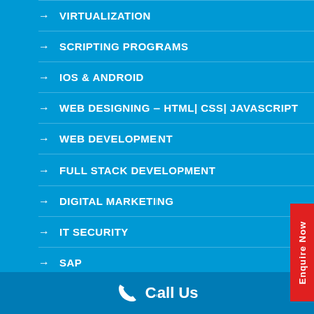VIRTUALIZATION
SCRIPTING PROGRAMS
IOS & ANDROID
WEB DESIGNING – HTML| CSS| JAVASCRIPT
WEB DEVELOPMENT
FULL STACK DEVELOPMENT
DIGITAL MARKETING
IT SECURITY
SAP
Enquire Now
Call Us